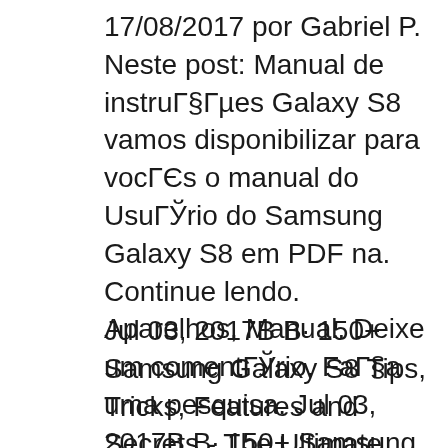17/08/2017 por Gabriel P. Neste post: Manual de instruções Galaxy S8 vamos disponibilizar para vocês o manual do Usuário do Samsung Galaxy S8 em PDF na. Continue lendo. Aparelhos, Manual. Deixe um comentário. Faça uma pesquisa. Jul 03, 2017В В· 150+ Samsung Galaxy S8 Tips, Tricks, Features and Secrets - The Ultimate Guide to 2017's BEST Phone! - Duration: 57:12. Video Gadgets Journal (VGJFelix) 1,036,059 views
Jul 03, 2017В В· 150+ Samsung Galaxy S8 Tips, Tricks, Features and Secrets - The Ultimate Guide to 2017's BEST Phone! - Duration: 57:12. Video Gadgets Journal (VGJFelix) 1,036,059 views Jul